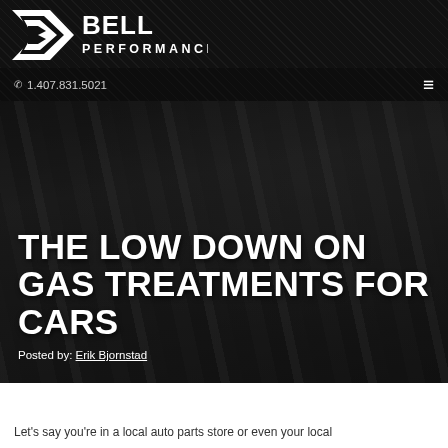[Figure (logo): Bell Performance logo — white stylized 'B' with racing stripe chevron and 'BELL PERFORMANCE' text in white on dark background]
1.407.831.5021
[Figure (photo): Dark blurred background of mechanical tools/wrenches (engine components) overlaid with large bold white title text]
THE LOW DOWN ON GAS TREATMENTS FOR CARS
Posted by: Erik Bjornstad
Let's say you're in a local auto parts store or even your local